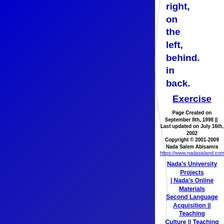right,
on
the
left,
behind.
in
back.
Exercise
Page Created on September 8th, 1998 ||  Last updated on July 16th, 2002
Copyright © 2001-2009 Nada Salem Abisamra
https://www.nadasisland.com/
Nada's University Projects | Nada's Online Materials
Second Language Acquisition || Teaching Culture || Teaching Reading || Teaching Writing || Teaching Idioms
Affect in Language Learning: Motivation